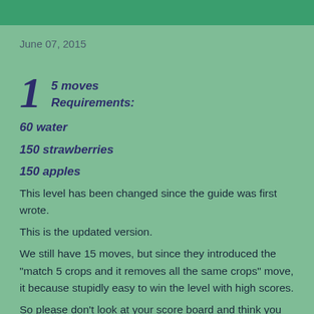June 07, 2015
1  5 moves
   Requirements:
60 water
150 strawberries
150 apples
This level has been changed since the guide was first wrote.
This is the updated version.
We still have 15 moves, but since they introduced the "match 5 crops and it removes all the same crops" move, it because stupidly easy to win the level with high scores.
So please don't look at your score board and think you are doing